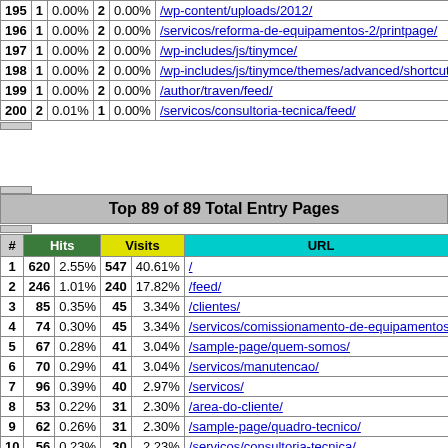| # | Hits |  | Visits |  | URL |
| --- | --- | --- | --- | --- | --- |
| 195 | 1 | 0.00% | 2 | 0.00% | /wp-content/uploads/2012/ |
| 196 | 1 | 0.00% | 2 | 0.00% | /servicos/reforma-de-equipamentos-2/printpage/ |
| 197 | 1 | 0.00% | 2 | 0.00% | /wp-includes/js/tinymce/ |
| 198 | 1 | 0.00% | 2 | 0.00% | /wp-includes/js/tinymce/themes/advanced/shortcuts. |
| 199 | 1 | 0.00% | 2 | 0.00% | /author/traven/feed/ |
| 200 | 2 | 0.01% | 1 | 0.00% | /servicos/consultoria-tecnica/feed/ |
| # | Hits |  | Visits |  | URL |
| --- | --- | --- | --- | --- | --- |
| 1 | 620 | 2.55% | 547 | 40.61% | / |
| 2 | 246 | 1.01% | 240 | 17.82% | /feed/ |
| 3 | 85 | 0.35% | 45 | 3.34% | /clientes/ |
| 4 | 74 | 0.30% | 45 | 3.34% | /servicos/comissionamento-de-equipamentos/ |
| 5 | 67 | 0.28% | 41 | 3.04% | /sample-page/quem-somos/ |
| 6 | 70 | 0.29% | 41 | 3.04% | /servicos/manutencao/ |
| 7 | 96 | 0.39% | 40 | 2.97% | /servicos/ |
| 8 | 53 | 0.22% | 31 | 2.30% | /area-do-cliente/ |
| 9 | 62 | 0.26% | 31 | 2.30% | /sample-page/quadro-tecnico/ |
| 10 | 56 | 0.23% | 30 | 2.23% | /servicos/consultoria-tecnica/ |
| 11 | 60 | 0.25% | 29 | 2.15% | /contato/ |